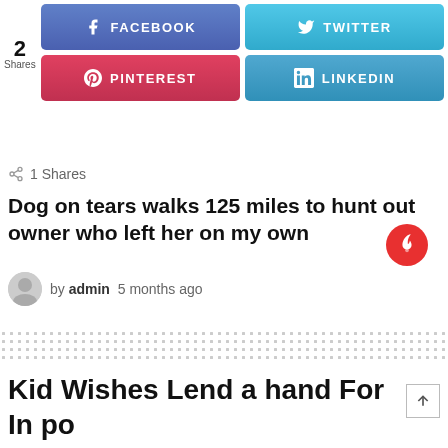[Figure (screenshot): Social share buttons: Facebook (blue), Twitter (light blue), Pinterest (red), LinkedIn (teal/blue), with share count of 2]
[Figure (infographic): Red circular hot/trending icon with flame symbol]
1 Shares
Dog on tears walks 125 miles to hunt out owner who left her on my own
by admin  5 months ago
[Figure (other): Dotted/pixel pattern divider]
Kid Wishes Lend a hand For In po...